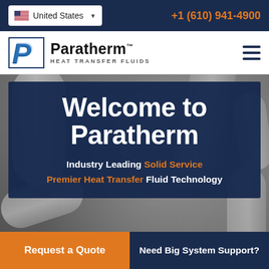United States  +1 (610) 941-4900
[Figure (logo): Paratherm Heat Transfer Fluids logo with blue P icon and company name]
Welcome to Paratherm
Industry Leading Solid Service Premier Heat Transfer Fluid Technology
Request a Quote
Need Big System Support?